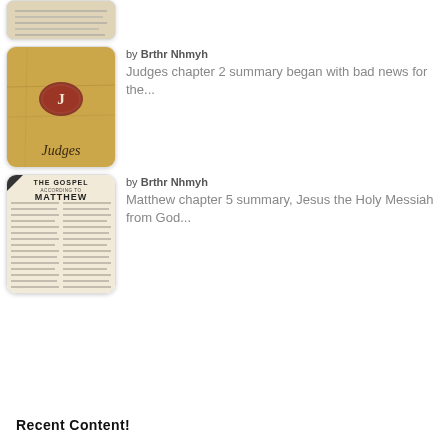[Figure (photo): Partial thumbnail of a Bible page (cropped at top)]
by Brthr Nhmyh
Judges chapter 2 summary began with bad news for the...
[Figure (photo): Thumbnail of Judges book cover with red wax seal stamped with letter J and text 'Judges' at bottom]
by Brthr Nhmyh
Matthew chapter 5 summary, Jesus the Holy Messiah from God...
[Figure (photo): Thumbnail of The Gospel According to Matthew open Bible page]
Recent Content!